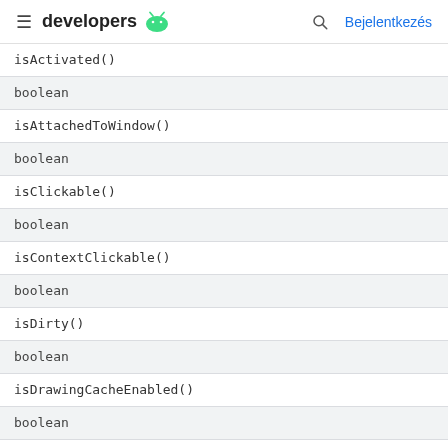developers [android logo] | [search icon] Bejelentkezés
| isActivated() |
| boolean |
| isAttachedToWindow() |
| boolean |
| isClickable() |
| boolean |
| isContextClickable() |
| boolean |
| isDirty() |
| boolean |
| isDrawingCacheEnabled() |
| boolean |
| isDuplicateParentStateEnabled() |